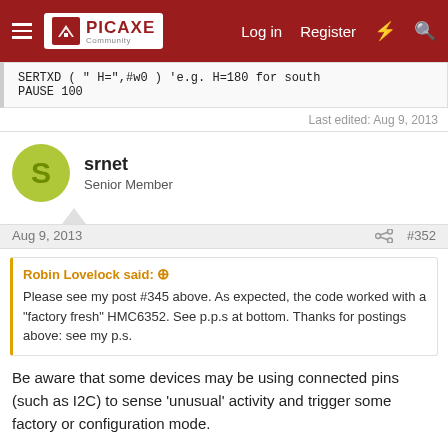PICAXE Community — Log in | Register
SERTXD ( "  H=",#w0 ) 'e.g. H=180 for south
PAUSE 100
Last edited: Aug 9, 2013
srnet
Senior Member
Aug 9, 2013  #352
Robin Lovelock said: ⊕
Please see my post #345 above. As expected, the code worked with a "factory fresh" HMC6352. See p.p.s at bottom. Thanks for postings above: see my p.s.
Be aware that some devices may be using connected pins (such as I2C) to sense 'unusual' activity and trigger some factory or configuration mode.